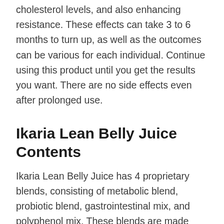cholesterol levels, and also enhancing resistance. These effects can take 3 to 6 months to turn up, as well as the outcomes can be various for each individual. Continue using this product until you get the results you want. There are no side effects even after prolonged use.
Ikaria Lean Belly Juice Contents
Ikaria Lean Belly Juice has 4 proprietary blends, consisting of metabolic blend, probiotic blend, gastrointestinal mix, and polyphenol mix. These blends are made with all-natural components using a total metabolic transformation. Right here